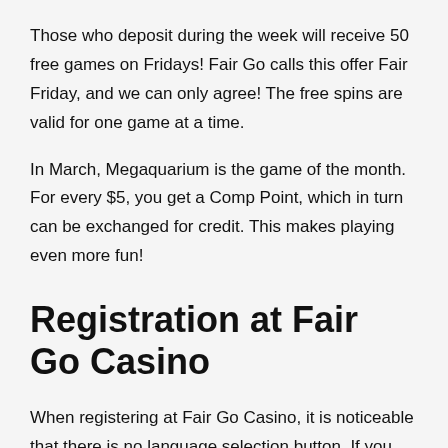Those who deposit during the week will receive 50 free games on Fridays! Fair Go calls this offer Fair Friday, and we can only agree! The free spins are valid for one game at a time.
In March, Megaquarium is the game of the month. For every $5, you get a Comp Point, which in turn can be exchanged for credit. This makes playing even more fun!
Registration at Fair Go Casino
When registering at Fair Go Casino, it is noticeable that there is no language selection button. If you know a little English and don't mind, you can register quickly and easily at Fair Go Casino.
To register, you need to enter your name and e-mail address. The user name and password can be freely chosen. Registration via